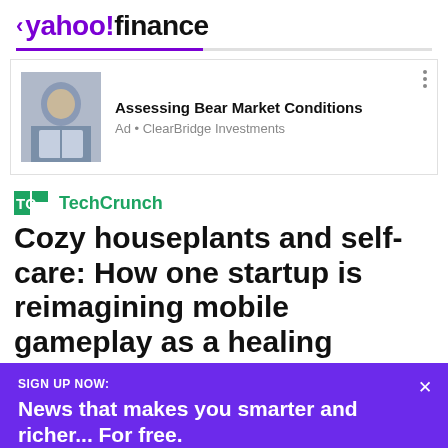< yahoo!finance
[Figure (screenshot): Advertisement for ClearBridge Investments featuring a photo of a man in a suit with text 'Assessing Bear Market Conditions' and 'Ad • ClearBridge Investments']
[Figure (logo): TechCrunch logo — green TC mark and TechCrunch text]
Cozy houseplants and self-care: How one startup is reimagining mobile gameplay as a healing
SIGN UP NOW:
News that makes you smarter and richer... For free.
View comments